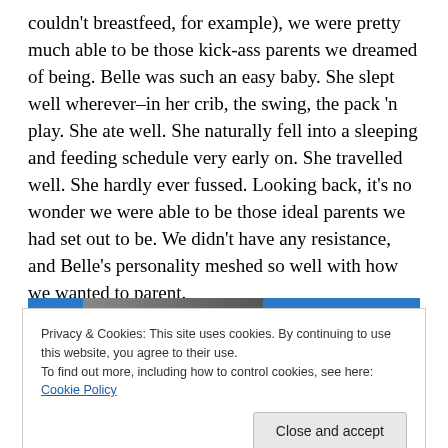couldn't breastfeed, for example), we were pretty much able to be those kick-ass parents we dreamed of being. Belle was such an easy baby. She slept well wherever–in her crib, the swing, the pack 'n play. She ate well. She naturally fell into a sleeping and feeding schedule very early on. She travelled well. She hardly ever fussed. Looking back, it's no wonder we were able to be those ideal parents we had set out to be. We didn't have any resistance, and Belle's personality meshed so well with how we wanted to parent.
[Figure (photo): Partial image strip visible behind cookie banner, showing blue and dark tones]
Privacy & Cookies: This site uses cookies. By continuing to use this website, you agree to their use.
To find out more, including how to control cookies, see here: Cookie Policy
Close and accept